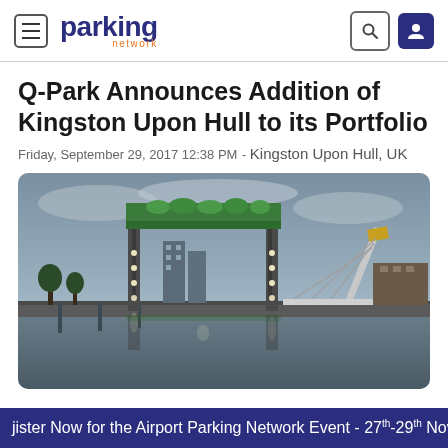parking network
Q-Park Announces Addition of Kingston Upon Hull to its Portfolio
Friday, September 29, 2017 12:38 PM - Kingston Upon Hull, UK
[Figure (photo): Twilight photograph of a large industrial/lifting bridge structure with green vegetation on top, lit with white lights, reflected in calm water below. A modern asymmetric cable-stayed bridge is visible on the right side. Urban buildings visible in the background under an overcast sky.]
jister Now for the Airport Parking Network Event - 27th-29th Nove